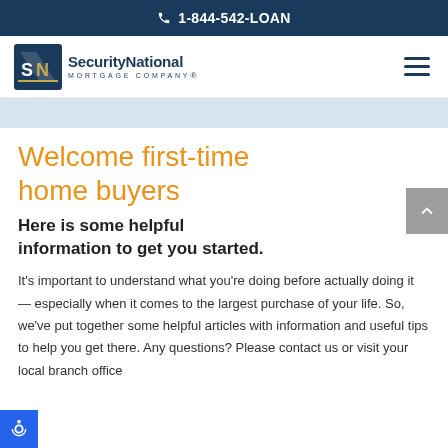1-844-542-LOAN
[Figure (logo): SecurityNational Mortgage Company logo with SN icon]
Welcome first-time home buyers
Here is some helpful information to get you started.
It's important to understand what you're doing before actually doing it — especially when it comes to the largest purchase of your life. So, we've put together some helpful articles with information and useful tips to help you get there. Any questions? Please contact us or visit your local branch office